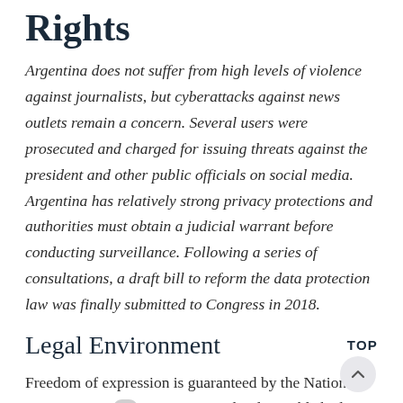Rights
Argentina does not suffer from high levels of violence against journalists, but cyberattacks against news outlets remain a concern. Several users were prosecuted and charged for issuing threats against the president and other public officials on social media. Argentina has relatively strong privacy protections and authorities must obtain a judicial warrant before conducting surveillance. Following a series of consultations, a draft bill to reform the data protection law was finally submitted to Congress in 2018.
Legal Environment
Freedom of expression is guaranteed by the National Constitution. 79 Argentina explicitly established online freedom of expression protections through a presidential decree...